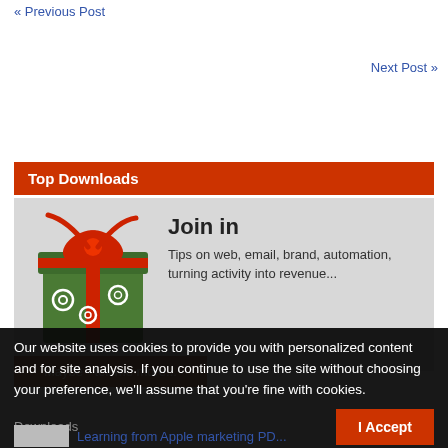« Previous Post
Next Post »
Top Downloads
[Figure (illustration): Green wrapped gift box with red ribbon and bow, white swirl decorations]
Join in
Tips on web, email, brand, automation, turning activity into revenue...
Maybe - tell me more...
Our website uses cookies to provide you with personalized content and for site analysis. If you continue to use the site without choosing your preference, we'll assume that you're fine with cookies.
Downloads
I Accept
Learning from Apple marketing PD...